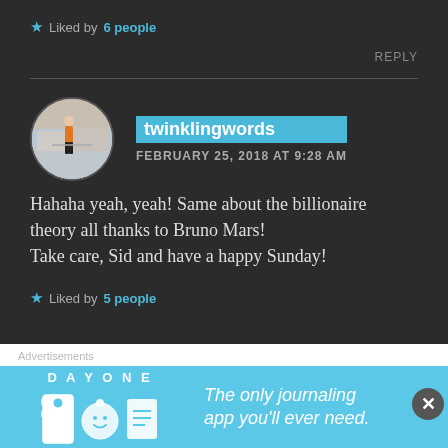Liked by 6 people
REPLY
twinklingwords
FEBRUARY 25, 2018 AT 9:28 AM
[Figure (photo): Circular avatar photo of a person standing outdoors]
Hahaha yeah, yeah! Same about the billionaire theory all thanks to Bruno Mars!
Take care, Sid and have a happy Sunday!
Liked by 5 people
Advertisements
[Figure (screenshot): Day One journaling app advertisement banner with text: The only journaling app you'll ever need.]